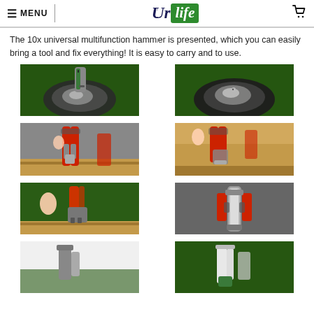≡ MENU | UrLife [logo]
The 10x universal multifunction hammer is presented, which you can easily bring a tool and fix everything! It is easy to carry and to use.
[Figure (photo): Close-up of multifunction hammer tip on green artificial grass background]
[Figure (photo): Round metal surface being struck by nail on green artificial grass background]
[Figure (photo): Red-handled pliers/staple tool pressing into wood surface]
[Figure (photo): Red-handled tool close-up on wood plank surface]
[Figure (photo): Hammer claw end on green artificial grass background with red handle]
[Figure (photo): Silver and red multifunction tool standing upright on grey background]
[Figure (photo): Bottom partial view of tool on white/green background]
[Figure (photo): Bottom partial view of tool on green background]